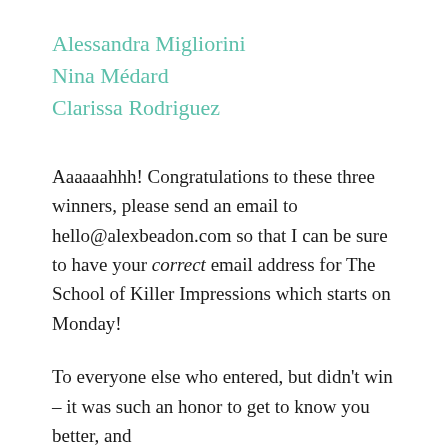Alessandra Migliorini
Nina Médard
Clarissa Rodriguez
Aaaaaahhh! Congratulations to these three winners, please send an email to hello@alexbeadon.com so that I can be sure to have your correct email address for The School of Killer Impressions which starts on Monday!
To everyone else who entered, but didn't win – it was such an honor to get to know you better, and